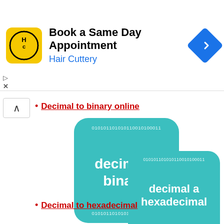[Figure (screenshot): Advertisement banner for Hair Cuttery with logo, 'Book a Same Day Appointment' text, and navigation icon]
Decimal to binary online
[Figure (illustration): Teal rounded square card with 'decimal a binario' text and binary number 010101101010110010100011]
[Figure (illustration): Teal rounded square card with 'decimal a hexadecimal' text and binary number 010101101010110010100011]
Decimal to hexadecimal